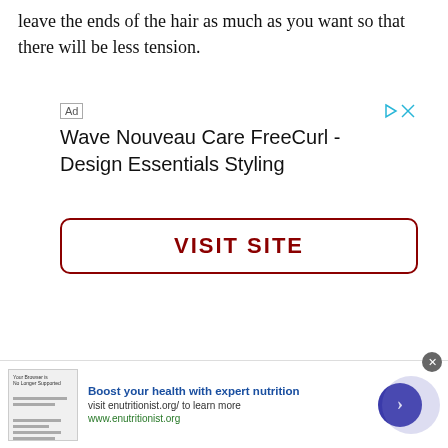leave the ends of the hair as much as you want so that there will be less tension.
[Figure (screenshot): Advertisement banner for Wave Nouveau Care FreeCurl - Design Essentials Styling with a VISIT SITE button in dark red, Ad label top left, and media control icons top right]
[Figure (infographic): Bottom banner advertisement: thumbnail image on left, bold blue headline 'Boost your health with expert nutrition', subtext 'visit enutritionist.org/ to learn more', green URL 'www.enutritionist.org', dark blue circular arrow button on right, close X button top-right corner]